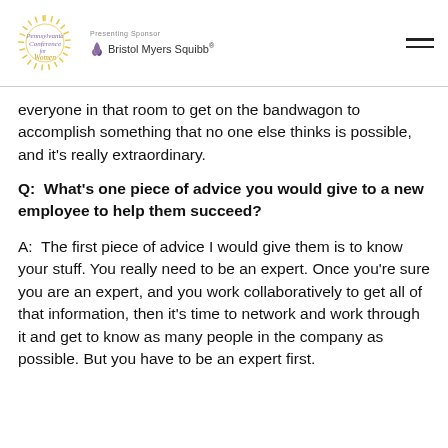Pennsylvania Conference for Women | Presenting Sponsor: Bristol Myers Squibb
everyone in that room to get on the bandwagon to accomplish something that no one else thinks is possible, and it's really extraordinary.
Q:  What's one piece of advice you would give to a new employee to help them succeed?
A:  The first piece of advice I would give them is to know your stuff. You really need to be an expert. Once you're sure you are an expert, and you work collaboratively to get all of that information, then it's time to network and work through it and get to know as many people in the company as possible. But you have to be an expert first.